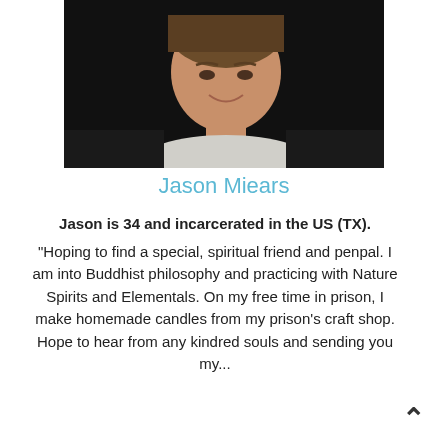[Figure (photo): Close-up photo of a young man smiling, wearing a white t-shirt and dark jacket, dark background]
Jason Miears
Jason is 34 and incarcerated in the US (TX).
"Hoping to find a special, spiritual friend and penpal. I am into Buddhist philosophy and practicing with Nature Spirits and Elementals. On my free time in prison, I make homemade candles from my prison's craft shop. Hope to hear from any kindred souls and sending you my...